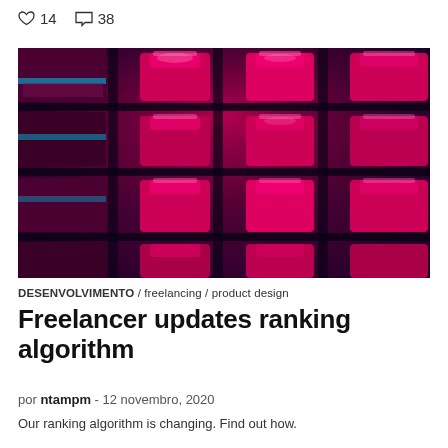♡ 14   ○ 38
[Figure (photo): Close-up photograph of keyboard keys with vivid red/pink and blue lighting, dark background, showing cylindrical key caps in a grid pattern with a glowing neon aesthetic]
DESENVOLVIMENTO / freelancing / product design
Freelancer updates ranking algorithm
por ntampm - 12 novembro, 2020
Our ranking algorithm is changing. Find out how.